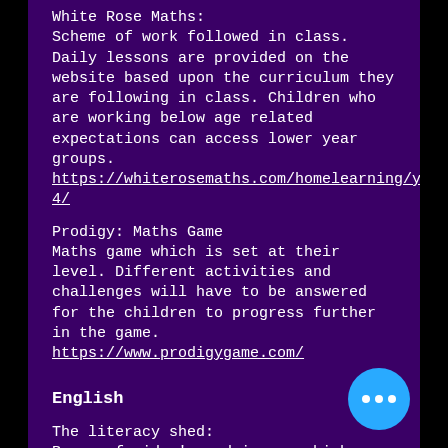White Rose Maths:
Scheme of work followed in class. Daily lessons are provided on the website based upon the curriculum they are following in class. Children who are working below age related expectations can access lower year groups.
https://whiterosemaths.com/homelearning/year-4/
Prodigy: Maths Game
Maths game which is set at their level. Different activities and challenges will have to be answered for the children to progress further in the game.
https://www.prodigygame.com/
English
The literacy shed:
Range of video's and images which can be used to prompt writing and comprehension questioning. Prompts and ideas follow each video or image.